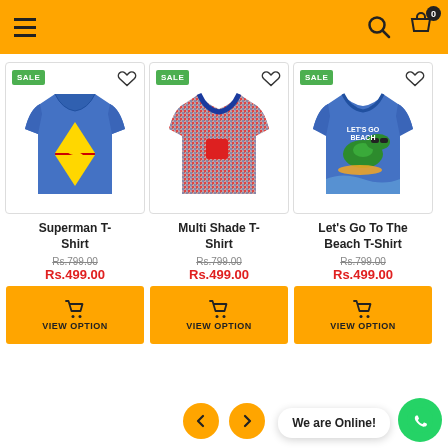Navigation header with hamburger menu, search icon, and cart icon (0 items)
[Figure (photo): Superman T-shirt with blue color and Superman logo, SALE badge]
Superman T-Shirt
Rs.799.00 Rs.499.00
VIEW OPTION
[Figure (photo): Multi Shade T-shirt with red pocket, SALE badge]
Multi Shade T-Shirt
Rs.799.00 Rs.499.00
VIEW OPTION
[Figure (photo): Let's Go To The Beach T-Shirt with crocodile graphic, SALE badge]
Let's Go To The Beach T-Shirt
Rs.799.00 Rs.499.00
VIEW OPTION
We are Online!